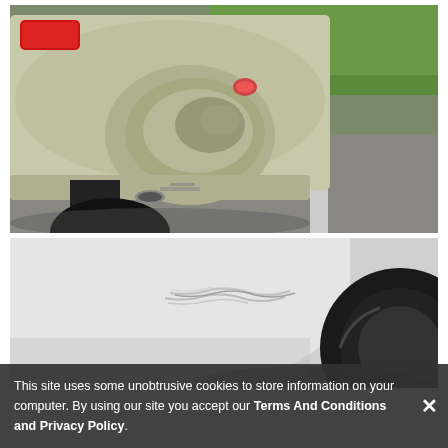[Figure (photo): Close-up photo of the rear bumper of a silver/beige car with a large dent. The car is parked on asphalt with a white parking line visible, and green grass in the background.]
[Figure (photo): Close-up photo of a white car panel (fender area near tire) with scratch/scuff damage. A large black tire is partially visible at the right.]
This site uses some unobtrusive cookies to store information on your computer. By using our site you accept our Terms And Conditions and Privacy Policy.